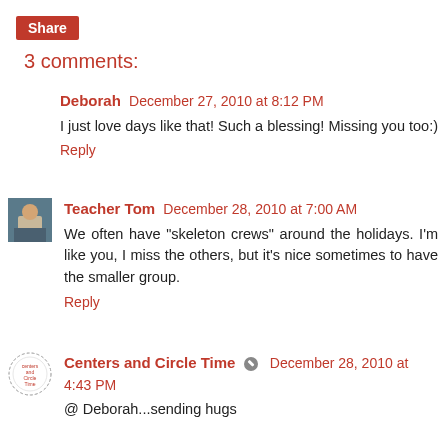Share
3 comments:
Deborah December 27, 2010 at 8:12 PM
I just love days like that! Such a blessing! Missing you too:)
Reply
Teacher Tom December 28, 2010 at 7:00 AM
We often have "skeleton crews" around the holidays. I'm like you, I miss the others, but it's nice sometimes to have the smaller group.
Reply
Centers and Circle Time December 28, 2010 at 4:43 PM
@ Deborah...sending hugs